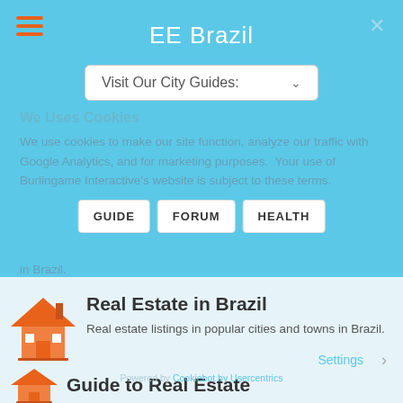EE Brazil
Visit Our City Guides:
We Uses Cookies
We use cookies to make our site function, analyze our traffic with Google Analytics, and for marketing purposes. Your use of Burlingame Interactive's website is subject to these terms.
in Brazil.
GUIDE
FORUM
HEALTH
Real Estate in Brazil
Real estate listings in popular cities and towns in Brazil.
Settings
Powered by Cookiebot by Usercentrics
Guide to Real Estate